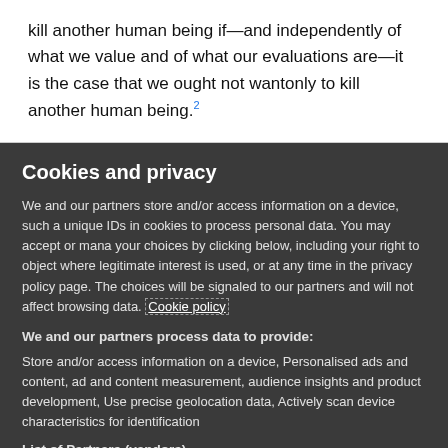kill another human being if—and independently of what we value and of what our evaluations are—it is the case that we ought not wantonly to kill another human being.²
Cookies and privacy
We and our partners store and/or access information on a device, such as unique IDs in cookies to process personal data. You may accept or manage your choices by clicking below, including your right to object where legitimate interest is used, or at any time in the privacy policy page. These choices will be signaled to our partners and will not affect browsing data. Cookie policy
We and our partners process data to provide:
Store and/or access information on a device, Personalised ads and content, ad and content measurement, audience insights and product development, Use precise geolocation data, Actively scan device characteristics for identification
List of Partners (vendors)
I Accept